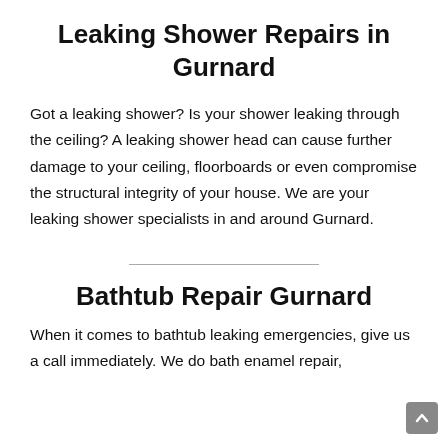Leaking Shower Repairs in Gurnard
Got a leaking shower? Is your shower leaking through the ceiling? A leaking shower head can cause further damage to your ceiling, floorboards or even compromise the structural integrity of your house. We are your leaking shower specialists in and around Gurnard.
Bathtub Repair Gurnard
When it comes to bathtub leaking emergencies, give us a call immediately. We do bath enamel repair,